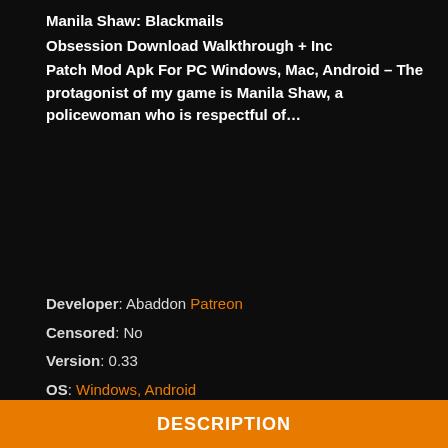Manila Shaw: Blackmails Obsession Download Walkthrough + Inc Patch Mod Apk For PC Windows, Mac, Android – The protagonist of my game is Manila Shaw, a policewoman who is respectful of…
Developer: Abaddon Patreon
Censored: No
Version: 0.33
OS: Windows, Android
Language: English
Genre: 3DCG, 2D game, Female protagonist, Big tits, Big ass, Corruption, Pregnancy, Vaginal sex, Anal sex, Titfuck, Masturbation, Rape, Oral sex, Interracial, Graphic violence, Sexual harassment, Blackmail, Teasing, Group sex, Spanking
DESCRIPTION